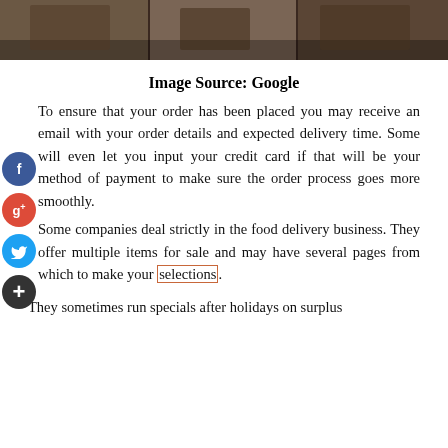[Figure (photo): Dark photograph strip showing what appears to be chairs and furniture in a room]
Image Source: Google
To ensure that your order has been placed you may receive an email with your order details and expected delivery time. Some will even let you input your credit card if that will be your method of payment to make sure the order process goes more smoothly.
Some companies deal strictly in the food delivery business. They offer multiple items for sale and may have several pages from which to make your selections.
They sometimes run specials after holidays on surplus